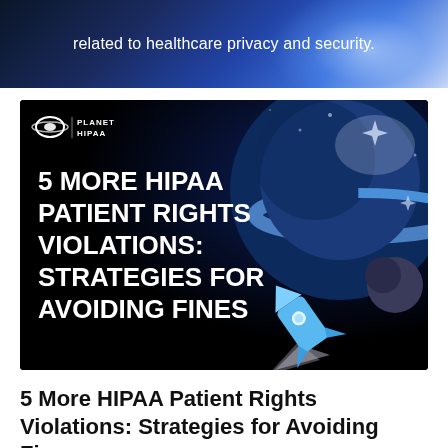related to healthcare privacy and security.
[Figure (illustration): Planet HIPAA branded infographic cover image on black background. Logo in top-left shows a Saturn-like planet with ring and 'PLANET HIPAA' text. Large bold white text reads '5 MORE HIPAA PATIENT RIGHTS VIOLATIONS: STRATEGIES FOR AVOIDING FINES'. Right side shows stylized space scene with blue/grey planet, rings, stars, and a blue rocket ship launching with grey exhaust trail.]
5 More HIPAA Patient Rights Violations: Strategies for Avoiding Fines